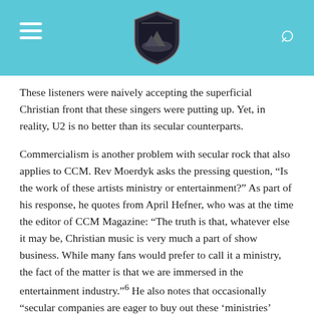[Navigation bar with hamburger menu, shield logo, and search icon]
These listeners were naively accepting the superficial Christian front that these singers were putting up. Yet, in reality, U2 is no better than its secular counterparts.
Commercialism is another problem with secular rock that also applies to CCM. Rev Moerdyk asks the pressing question, “Is the work of these artists ministry or entertainment?” As part of his response, he quotes from April Hefner, who was at the time the editor of CCM Magazine: “The truth is that, whatever else it may be, Christian music is very much a part of show business. While many fans would prefer to call it a ministry, the fact of the matter is that we are immersed in the entertainment industry.”⁶ He also notes that occasionally “secular companies are eager to buy out these ‘ministries’ because of their tremendous money making potential.”⁷ Today (as it has